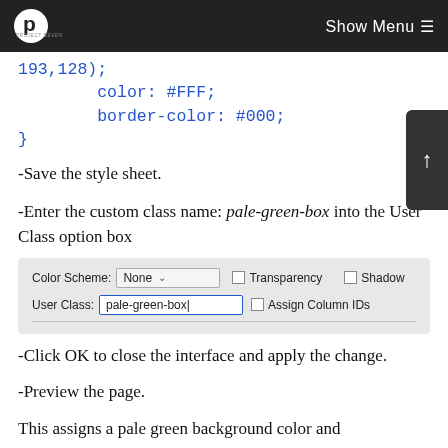Show Menu
193,128);
        color: #FFF;
        border-color: #000;
}
-Save the style sheet.
-Enter the custom class name: pale-green-box into the User Class option box
[Figure (screenshot): UI dialog showing Color Scheme dropdown set to None, Transparency and Shadow checkboxes unchecked, User Class field with pale-green-box entered, and Assign Column IDs checkbox unchecked.]
-Click OK to close the interface and apply the change.
-Preview the page.
This assigns a pale green background color and